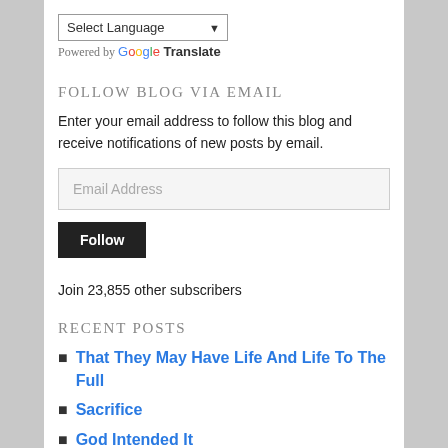[Figure (screenshot): Language selector dropdown showing 'Select Language' with a chevron arrow, followed by 'Powered by Google Translate' text]
FOLLOW BLOG VIA EMAIL
Enter your email address to follow this blog and receive notifications of new posts by email.
Email Address
Follow
Join 23,855 other subscribers
RECENT POSTS
That They May Have Life And Life To The Full
Sacrifice
God Intended It
Had Asked For This
A Wise Man Listens To Advice